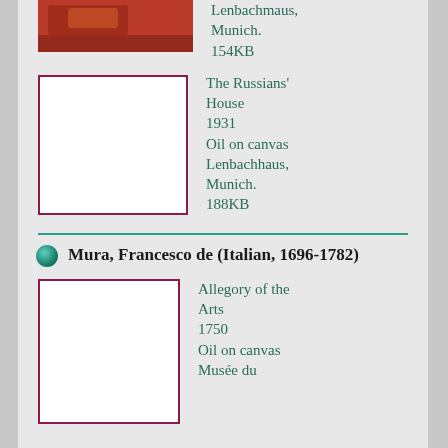[Figure (photo): Thumbnail image of a painting - reddish/orange tones]
Lenbachmaus, Munich.
154KB
[Figure (illustration): Placeholder rectangle with dark red border for The Russians' House painting]
The Russians' House
1931
Oil on canvas
Lenbachhaus, Munich.
188KB
Mura, Francesco de (Italian, 1696-1782)
[Figure (illustration): Placeholder rectangle with dark red border for Allegory of the Arts painting]
Allegory of the Arts
1750
Oil on canvas
Musée du